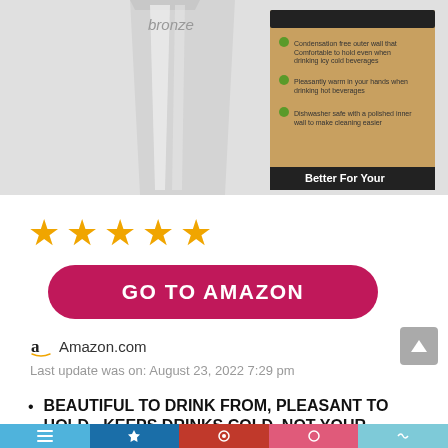[Figure (photo): Product photo showing a stainless steel tumbler cup next to its cardboard packaging box with green squirrel icons and text 'Better For Your' visible on the box. The word 'bronze' appears above the cup.]
[Figure (other): Five orange star rating icons]
[Figure (other): Red rounded button with white bold text 'GO TO AMAZON']
Amazon.com
Last update was on: August 23, 2022 7:29 pm
BEAUTIFUL TO DRINK FROM, PLEASANT TO HOLD - KEEPS DRINKS COLD, NOT YOUR
[Figure (other): Bottom navigation/share bar with colored segments in light blue, dark blue, red, pink, and cyan]